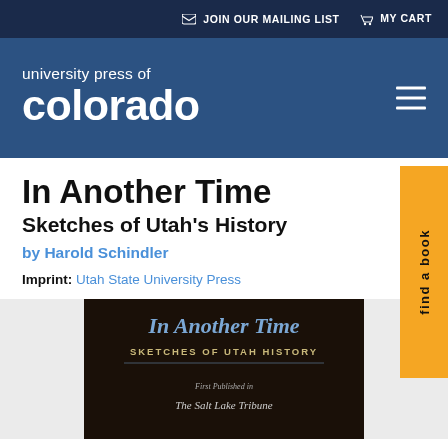JOIN OUR MAILING LIST   MY CART
[Figure (logo): University Press of Colorado logo with white text on blue background and hamburger menu icon]
In Another Time
Sketches of Utah's History
by Harold Schindler
Imprint: Utah State University Press
[Figure (photo): Book cover of 'In Another Time: Sketches of Utah History' with dark background and blue serif title text. Subtitle reads 'First Published in The Salt Lake Tribune']